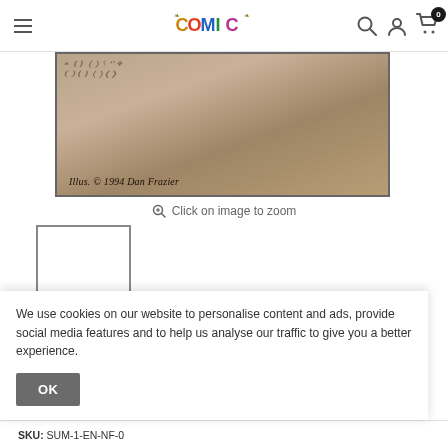COMIC [logo] | Search | Account | Cart (0)
[Figure (photo): Partial view of a Magic: The Gathering or similar trading card showing illustration credit: Illus. © 1994 Dan Frazier, with a textured brownish background]
Click on image to zoom
[Figure (photo): Small thumbnail image placeholder (white rectangle with dark border)]
We use cookies on our website to personalise content and ads, provide social media features and to help us analyse our traffic to give you a better experience.
OK
SKU: SUM-1-EN-NF-0